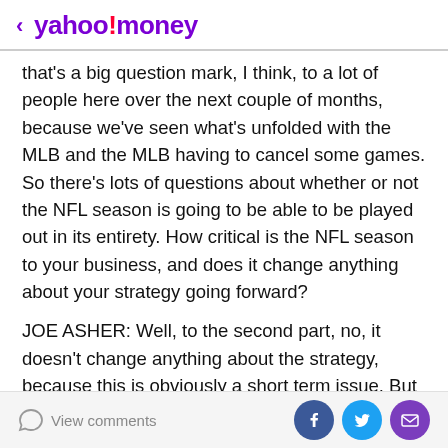< yahoo!money
that's a big question mark, I think, to a lot of people here over the next couple of months, because we've seen what's unfolded with the MLB and the MLB having to cancel some games. So there's lots of questions about whether or not the NFL season is going to be able to be played out in its entirety. How critical is the NFL season to your business, and does it change anything about your strategy going forward?
JOE ASHER: Well, to the second part, no, it doesn't change anything about the strategy, because this is obviously a short term issue. But NFL is important, college football is important, football collectively is important. although the relative percentage of football
View comments